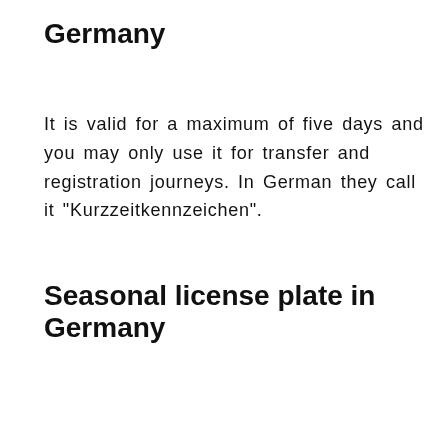Germany
It is valid for a maximum of five days and you may only use it for transfer and registration journeys. In German they call it "Kurzzeitkennzeichen".
Seasonal license plate in Germany